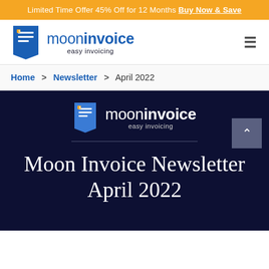Limited Time Offer 45% Off for 12 Months Buy Now & Save
[Figure (logo): Moon Invoice logo with blue invoice icon and text 'mooninvoice easy invoicing' and hamburger menu icon]
Home > Newsletter > April 2022
[Figure (logo): Moon Invoice logo in white on dark navy background with text 'mooninvoice easy invoicing']
Moon Invoice Newsletter April 2022